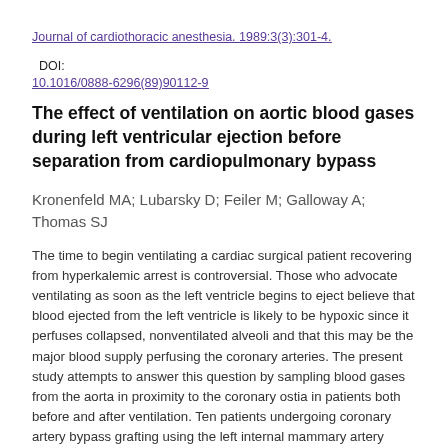Journal of cardiothoracic anesthesia. 1989:3(3):301-4.   DOI: 10.1016/0888-6296(89)90112-9
The effect of ventilation on aortic blood gases during left ventricular ejection before separation from cardiopulmonary bypass
Kronenfeld MA; Lubarsky D; Feiler M; Galloway A; Thomas SJ
The time to begin ventilating a cardiac surgical patient recovering from hyperkalemic arrest is controversial. Those who advocate ventilating as soon as the left ventricle begins to eject believe that blood ejected from the left ventricle is likely to be hypoxic since it perfuses collapsed, nonventilated alveoli and that this may be the major blood supply perfusing the coronary arteries. The present study attempts to answer this question by sampling blood gases from the aorta in proximity to the coronary ostia in patients both before and after ventilation. Ten patients undergoing coronary artery bypass grafting using the left internal mammary artery were studied. Each patient served as his own control. Distal anastomoses were placed under hyperkalemic, hypothermic cardiac arrest. The aorta was unclamped, and an intrinsic or paced heart rate of 70 beats per minute was achieved. The heart